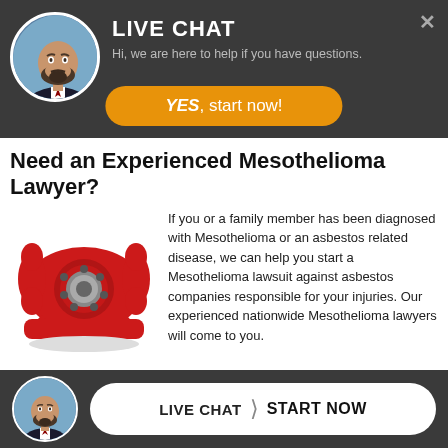[Figure (screenshot): Live chat popup header with avatar photo of bearded man in suit, dark gray background, LIVE CHAT title text, subtitle 'Hi, we are here to help if you have questions.' and an orange YES start now button. Close X in top right corner.]
Need an Experienced Mesothelioma Lawyer?
[Figure (photo): Red vintage rotary telephone]
If you or a family member has been diagnosed with Mesothelioma or an asbestos related disease, we can help you start a Mesothelioma lawsuit against asbestos companies responsible for your injuries. Our experienced nationwide Mesothelioma lawyers will come to you.
Call our Mesothelioma Toll Free Helpline at 888.640.0914 and get help today!
24 Hour Live Chat Available >>> See Chat button on right side
[Figure (screenshot): Bottom live chat bar with bearded man avatar and LIVE CHAT / START NOW button on dark gray background]